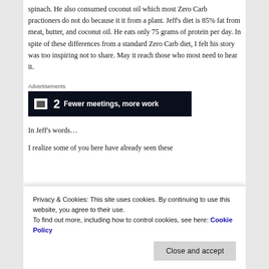spinach. He also consumed coconut oil which most Zero Carb practioners do not do because it it from a plant. Jeff's diet is 85% fat from meat, butter, and coconut oil. He eats only 75 grams of protein per day. In spite of these differences from a standard Zero Carb diet, I felt his story was too inspiring not to share. May it reach those who most need to hear it.
[Figure (other): Advertisement banner with dark background showing '2' and text 'Fewer meetings, more work']
In Jeff's words…
I realize some of you here have already seen these...
Privacy & Cookies: This site uses cookies. By continuing to use this website, you agree to their use. To find out more, including how to control cookies, see here: Cookie Policy